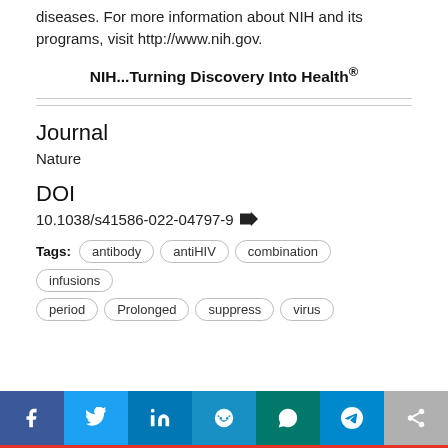diseases. For more information about NIH and its programs, visit http://www.nih.gov.
NIH...Turning Discovery Into Health®
Journal
Nature
DOI
10.1038/s41586-022-04797-9
Tags: antibody antiHIV combination infusions period Prolonged suppress virus